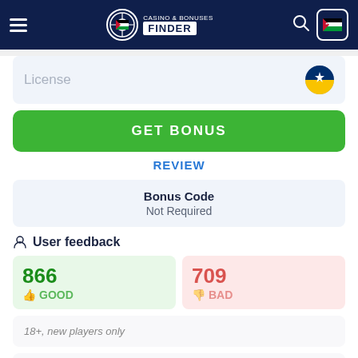[Figure (screenshot): Casino & Bonuses Finder website header with logo, hamburger menu, search icon, and Jordan flag button on dark navy background]
License
GET BONUS
REVIEW
Bonus Code
Not Required
User feedback
866
👍 GOOD
709
👎 BAD
18+, new players only
Cashable
Rating